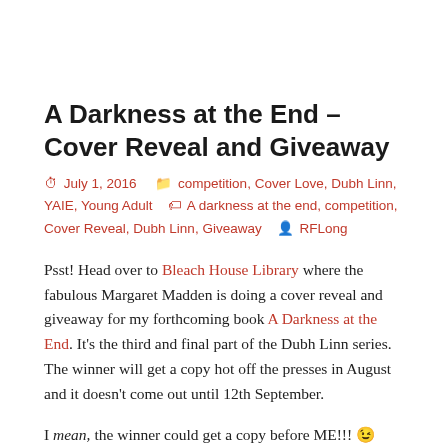A Darkness at the End – Cover Reveal and Giveaway
July 1, 2016   competition, Cover Love, Dubh Linn, YAIE, Young Adult   A darkness at the end, competition, Cover Reveal, Dubh Linn, Giveaway   RFLong
Psst! Head over to Bleach House Library where the fabulous Margaret Madden is doing a cover reveal and giveaway for my forthcoming book A Darkness at the End. It's the third and final part of the Dubh Linn series. The winner will get a copy hot off the presses in August and it doesn't come out until 12th September.
I mean, the winner could get a copy before ME!!!